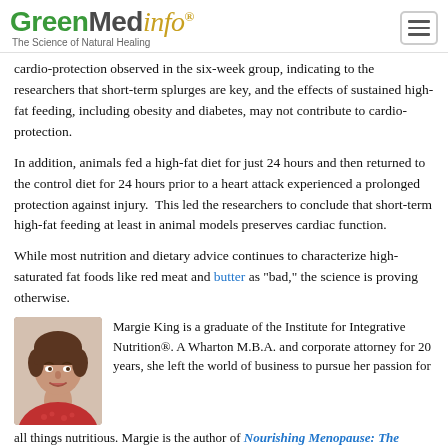GreenMedInfo — The Science of Natural Healing
cardio-protection observed in the six-week group, indicating to the researchers that short-term splurges are key, and the effects of sustained high-fat feeding, including obesity and diabetes, may not contribute to cardio-protection.
In addition, animals fed a high-fat diet for just 24 hours and then returned to the control diet for 24 hours prior to a heart attack experienced a prolonged protection against injury.  This led the researchers to conclude that short-term high-fat feeding at least in animal models preserves cardiac function.
While most nutrition and dietary advice continues to characterize high-saturated fat foods like red meat and butter as "bad," the science is proving otherwise.
[Figure (photo): Headshot of Margie King, a woman with short brown hair and a red patterned top, smiling.]
Margie King is a graduate of the Institute for Integrative Nutrition®. A Wharton M.B.A. and corporate attorney for 20 years, she left the world of business to pursue her passion for all things nutritious. Margie is the author of Nourishing Menopause: The Whole Food Guide to Balancing Your